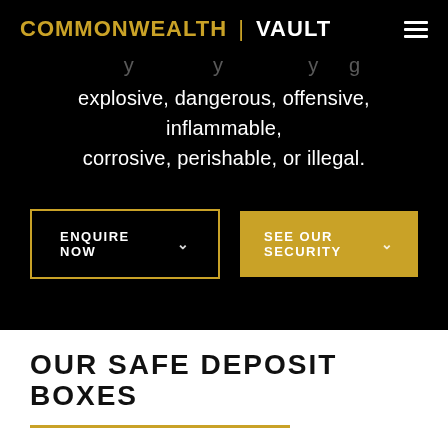COMMONWEALTH | VAULT
explosive, dangerous, offensive, inflammable, corrosive, perishable, or illegal.
ENQUIRE NOW
SEE OUR SECURITY
OUR SAFE DEPOSIT BOXES